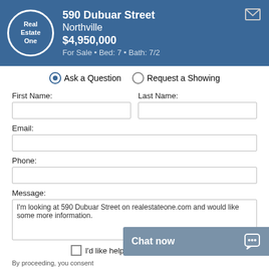590 Dubuar Street
Northville
$4,950,000
For Sale • Bed: 7 • Bath: 7/2
Ask a Question  Request a Showing
First Name:
Last Name:
Email:
Phone:
Message:
I'm looking at 590 Dubuar Street on realestateone.com and would like some more information.
I'd like help getting pre-approved
Chat now
By proceeding, you consent